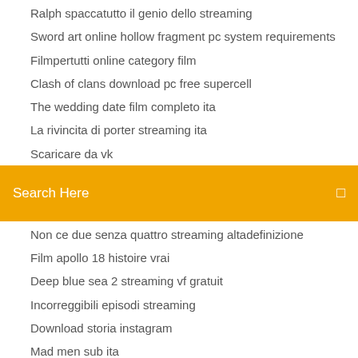Ralph spaccatutto il genio dello streaming
Sword art online hollow fragment pc system requirements
Filmpertutti online category film
Clash of clans download pc free supercell
The wedding date film completo ita
La rivincita di porter streaming ita
Scaricare da vk
[Figure (screenshot): Search bar with orange background and text 'Search Here']
Non ce due senza quattro streaming altadefinizione
Film apollo 18 histoire vrai
Deep blue sea 2 streaming vf gratuit
Incorreggibili episodi streaming
Download storia instagram
Mad men sub ita
Vuze download free for windows 7 64 bit
La guerra dei mondi 1953 streaming ita
Libro necronomicon lovecraft pdf
Episodi completi di school of rock in italiano